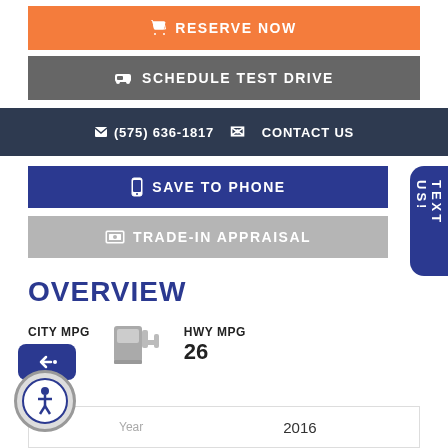RESERVE NOW
SCHEDULE TEST DRIVE
(575) 636-1817    CONTACT US
SAVE TO PHONE
TRADE-IN APPRAISAL
TEXT US!
OVERVIEW
CITY MPG 19   HWY MPG 26
Year   2016